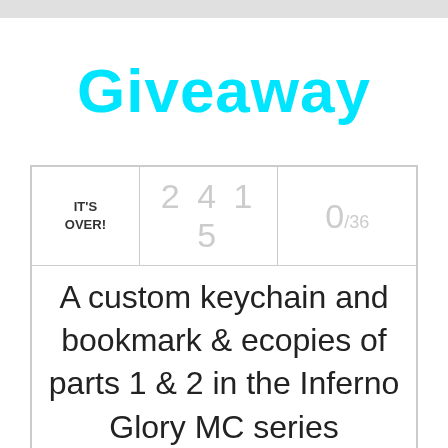[Figure (photo): Top partial image bar cropped at the top of the page]
Giveaway
| IT'S OVER! | 2 4 1 5 | 0/36 |
| A custom keychain and bookmark & ecopies of parts 1 & 2 in the Inferno Glory MC series |  |  |